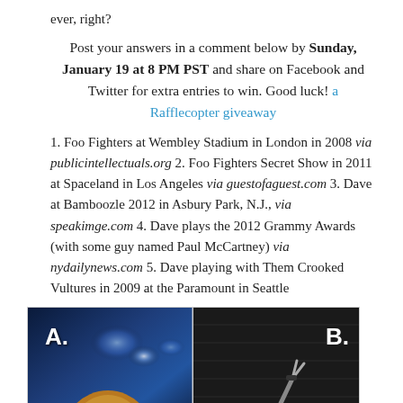ever, right?
Post your answers in a comment below by Sunday, January 19 at 8 PM PST and share on Facebook and Twitter for extra entries to win. Good luck! a Rafflecopter giveaway
1. Foo Fighters at Wembley Stadium in London in 2008 via publicintellectuals.org 2. Foo Fighters Secret Show in 2011 at Spaceland in Los Angeles via guestofaguest.com 3. Dave at Bamboozle 2012 in Asbury Park, N.J., via speakimge.com 4. Dave plays the 2012 Grammy Awards (with some guy named Paul McCartney) via nydailynews.com 5. Dave playing with Them Crooked Vultures in 2009 at the Paramount in Seattle
[Figure (photo): Two side-by-side concert photos labeled A and B. Left photo (A) shows a performer with long hair on a blue-lit stage. Right photo (B) shows a performer making a peace sign gesture on a dark stage.]